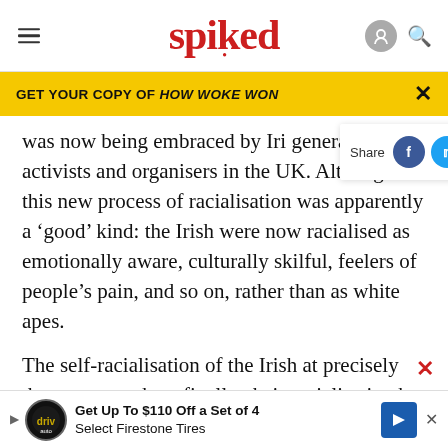spiked
GET YOUR COPY OF HOW WOKE WON
was now being embraced by Iri… generation Irish activists and organisers in the UK. Although this new process of racialisation was apparently a 'good' kind: the Irish were now racialised as emotionally aware, culturally skilful, feelers of people's pain, and so on, rather than as white apes.
The self-racialisation of the Irish at precisely the moment when, finally, their racialisation by others was co…
Get Up To $110 Off a Set of 4 Select Firestone Tires